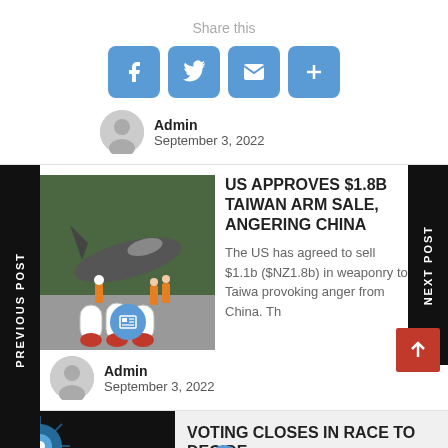Share this
[Figure (infographic): Social share buttons: Facebook, Twitter, Email, and a plus/more button, all in light blue rounded squares]
Admin
September 3, 2022
[Figure (photo): Photo of military jet with missiles/rockets being loaded by ground crew in orange vests]
US APPROVES $1.8B TAIWAN ARM SALE, ANGERING CHINA
The US has agreed to sell $1.1b ($NZ1.8b) in weaponry to Taiwa provoking anger from China. Th
Admin
September 3, 2022
[Figure (photo): Partial photo showing blue lights, bottom of page]
VOTING CLOSES IN RACE TO DECIDE